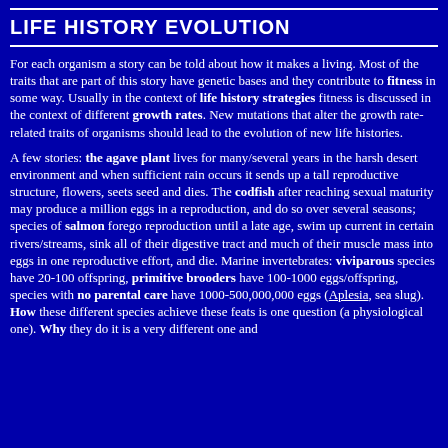LIFE HISTORY EVOLUTION
For each organism a story can be told about how it makes a living. Most of the traits that are part of this story have genetic bases and they contribute to fitness in some way. Usually in the context of life history strategies fitness is discussed in the context of different growth rates. New mutations that alter the growth rate-related traits of organisms should lead to the evolution of new life histories.
A few stories: the agave plant lives for many/several years in the harsh desert environment and when sufficient rain occurs it sends up a tall reproductive structure, flowers, seets seed and dies. The codfish after reaching sexual maturity may produce a million eggs in a reproduction, and do so over several seasons; species of salmon forego reproduction until a late age, swim up current in certain rivers/streams, sink all of their digestive tract and much of their muscle mass into eggs in one reproductive effort, and die. Marine invertebrates: viviparous species have 20-100 offspring, primitive brooders have 100-1000 eggs/offspring, species with no parental care have 1000-500,000,000 eggs (Aplesia, sea slug). How these different species achieve these feats is one question (a physiological one). Why they do it is a very different one and